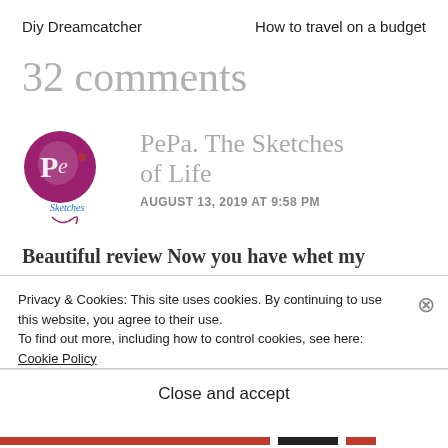Diy Dreamcatcher    How to travel on a budget
32 comments
[Figure (logo): PePa. The Sketches of Life blog logo — circular magenta/purple badge with stylized 'Pe' and cursive 'Sketches' text below]
PePa. The Sketches of Life
AUGUST 13, 2019 AT 9:58 PM
Beautiful review Now you have whet my
Privacy & Cookies: This site uses cookies. By continuing to use this website, you agree to their use.
To find out more, including how to control cookies, see here: Cookie Policy
Close and accept